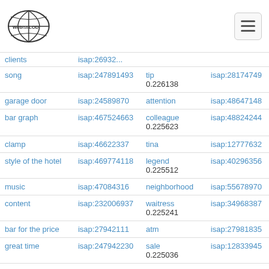[Figure (logo): Web ISA LOD globe logo]
| term | id | hypernym | score | hypernym_id |
| --- | --- | --- | --- | --- |
| clients | isap:26932.. |  |  |  |
| song | isap:247891493 | tip | 0.226138 | isap:28174749 |
| garage door | isap:24589870 | attention |  | isap:48647148 |
| bar graph | isap:467524663 | colleague | 0.225623 | isap:48824244 |
| clamp | isap:46622337 | tina |  | isap:12777632 |
| style of the hotel | isap:469774118 | legend | 0.225512 | isap:40296356 |
| music | isap:47084316 | neighborhood |  | isap:55678970 |
| content | isap:232006937 | waitress | 0.225241 | isap:34968387 |
| bar for the price | isap:27942111 | atm |  | isap:27981835 |
| great time | isap:247942230 | sale | 0.225036 | isap:12833945 |
| meal replacement | isap:11112753 | commonwealth |  | isap:55298881 |
|  |  | statement |  | isap:48799052 |